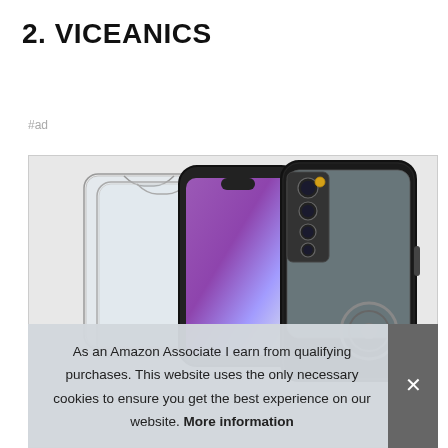2. VICEANICS
#ad
[Figure (photo): Product photo showing smartphone cases and screen protectors for a Xiaomi Redmi phone. Two glass screen protectors are shown on the left, and two phone cases with carbon fiber pattern and magnetic ring holder are shown in the center and right.]
As an Amazon Associate I earn from qualifying purchases. This website uses the only necessary cookies to ensure you get the best experience on our website. More information